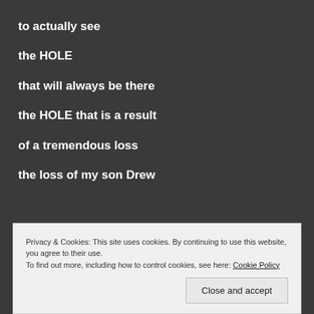to actually see
the HOLE
that will always be there
the HOLE that is a result
of a tremendous loss
the loss of my son Drew
Privacy & Cookies: This site uses cookies. By continuing to use this website, you agree to their use. To find out more, including how to control cookies, see here: Cookie Policy
Close and accept